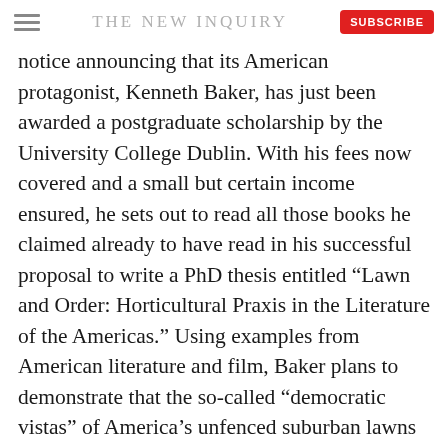THE NEW INQUIRY
notice announcing that its American protagonist, Kenneth Baker, has just been awarded a postgraduate scholarship by the University College Dublin. With his fees now covered and a small but certain income ensured, he sets out to read all those books he claimed already to have read in his successful proposal to write a PhD thesis entitled “Lawn and Order: Horticultural Praxis in the Literature of the Americas.” Using examples from American literature and film, Baker plans to demonstrate that the so-called “democratic vistas” of America’s unfenced suburban lawns work at once as a symbol of freedom and active agent against freedom. To strengthen his case, Baker included supporting